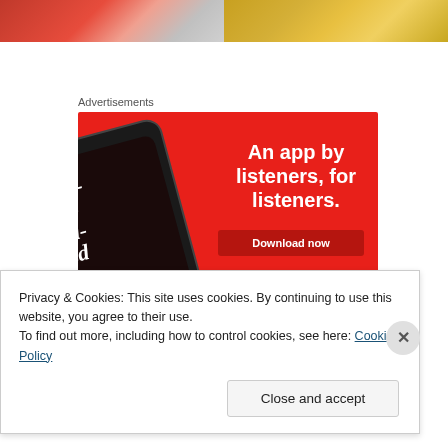[Figure (photo): Two food photos side by side: left shows orange/red food in plastic wrap, right shows yellow/golden food items]
Advertisements
[Figure (illustration): Red advertisement banner for a podcast app showing a smartphone with 'Distributed' podcast, text 'An app by listeners, for listeners.' and a 'Download now' button]
Privacy & Cookies: This site uses cookies. By continuing to use this website, you agree to their use.
To find out more, including how to control cookies, see here: Cookie Policy
Close and accept